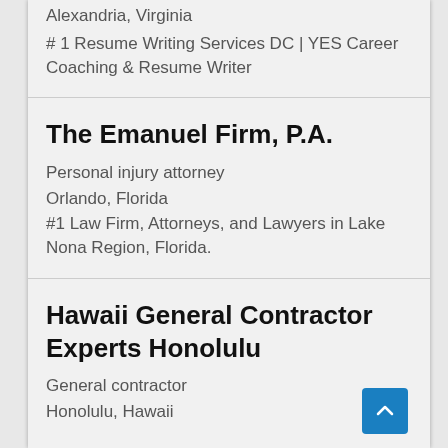Alexandria, Virginia
# 1 Resume Writing Services DC | YES Career Coaching & Resume Writer
The Emanuel Firm, P.A.
Personal injury attorney
Orlando, Florida
#1 Law Firm, Attorneys, and Lawyers in Lake Nona Region, Florida.
Hawaii General Contractor Experts Honolulu
General contractor
Honolulu, Hawaii